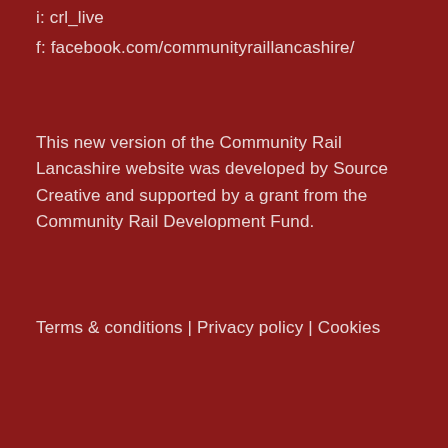i: crl_live
f: facebook.com/communityraillancashire/
This new version of the Community Rail Lancashire website was developed by Source Creative and supported by a grant from the Community Rail Development Fund.
Terms & conditions | Privacy policy | Cookies